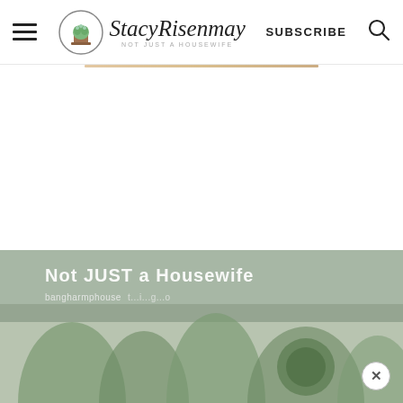StacyRisenmay — NOT JUST A HOUSEWIFE — SUBSCRIBE
[Figure (photo): Bottom portion showing a partially visible blog post image with text overlay 'Not JUST a Housewife' and a URL, featuring green plants and a decorative element, with a close/dismiss X button in the lower right corner.]